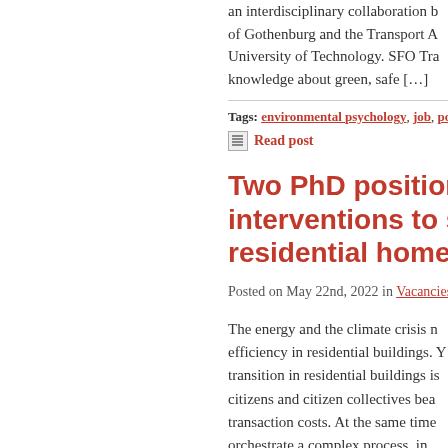an interdisciplinary collaboration b of Gothenburg and the Transport A University of Technology. SFO Tra knowledge about green, safe […]
Tags: environmental psychology, job, postdoct
Read post
Two PhD positions: Tailor interventions to stimulate residential homes
Posted on May 22nd, 2022 in Vacancies
The energy and the climate crisis n efficiency in residential buildings. Y transition in residential buildings is citizens and citizen collectives bea transaction costs. At the same time orchestrate a complex process, in
Tags: job, vacancy
Read post